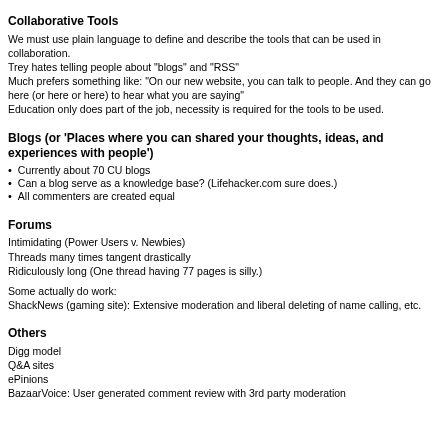Collaborative Tools
We must use plain language to define and describe the tools that can be used in collaboration.
Trey hates telling people about "blogs" and "RSS"
Much prefers something like: "On our new website, you can talk to people. And they can go here (or here or here) to hear what you are saying"
Education only does part of the job, necessity is required for the tools to be used.
Blogs (or 'Places where you can shared your thoughts, ideas, and experiences with people')
Currently about 70 CU blogs
Can a blog serve as a knowledge base? (Lifehacker.com sure does.)
All commenters are created equal
Forums
Intimidating (Power Users v. Newbies)
Threads many times tangent drastically
Ridiculously long (One thread having 77 pages is silly.)
Some actually do work:
ShackNews (gaming site): Extensive moderation and liberal deleting of name calling, etc.
Others
Digg model
Q&A sites
ePinions
BazaarVoice: User generated comment review with 3rd party moderation